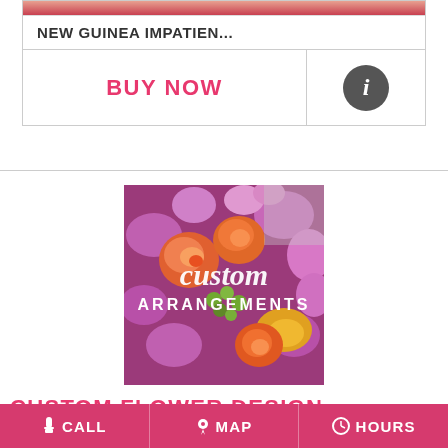NEW GUINEA IMPATIEN...
BUY NOW
[Figure (illustration): Custom flower arrangements promotional image with orange roses, purple flowers, green berries, and yellow flowers with text 'custom ARRANGEMENTS' overlaid]
CUSTOM FLOWER DESIGN
Let us create a custom flower arrangement for you.
CALL    MAP    HOURS